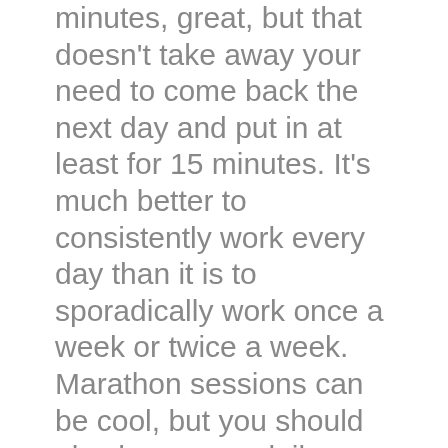minutes, great, but that doesn't take away your need to come back the next day and put in at least for 15 minutes. It's much better to consistently work every day than it is to sporadically work once a week or twice a week. Marathon sessions can be cool, but you should also have your daily practices set in place, because what's going to happen is that daily practice is going to keep your mind open for creative ideas every single day and you're not going to forget what you did the day before.
It's like the story keeps unfolding, & you don't forget the story along the way. So